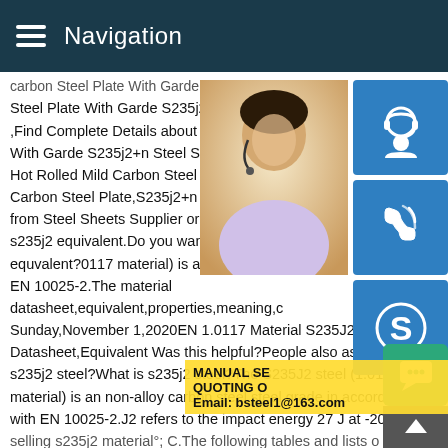Navigation
Carbon Steel Plate With Garde S235j2+n Steel Plate With Garde S235j2+n Steel Sh ,Find Complete Details about Hot Rolled M With Garde S235j2+n Steel Sheet For Pro Hot Rolled Mild Carbon Steel Plate,S235j2 Carbon Steel Plate,S235j2+n Hot Rolled M from Steel Sheets Supplier or Manufacture s235j2 equivalent.Do you want results on equvalent?0117 material) is an non-alloy c EN 10025-2.The material datasheet,equivalent,properties,meaning,c Sunday,November 1,2020EN 1.0117 Material S235J2 Steel Datasheet,Equivalent Was this helpful?People also askWhat is s235j2 steel?What is s235j2 steel?The S235J2 steel (1.0117 material) is an non-alloy carbon steel steel grade in accordance with EN 10025-2.J2 refers to the impact energy 27 J at -20 su selling s235j2 material#176; C.The following tables and lists o
[Figure (photo): Customer service representative woman with headset, smiling]
[Figure (infographic): Blue service/headset icon button]
[Figure (infographic): Blue phone/call icon button]
[Figure (infographic): Blue Skype icon button]
MANUAL SE... QUOTING O... Email: bsteel1@163.com
[Figure (infographic): Green chat bubble icon button]
[Figure (infographic): Gray back-to-top arrow button]